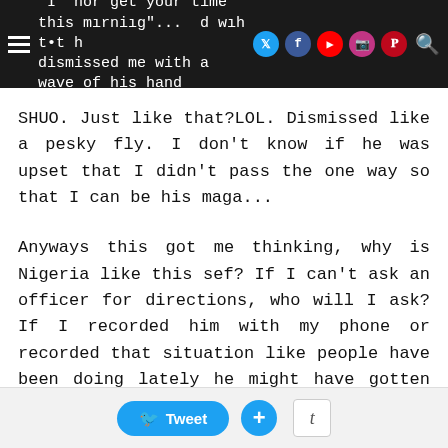"I nor get your time this morning"... and with that he dismissed me with a wave of his hand
SHUO. Just like that?LOL. Dismissed like a pesky fly. I don't know if he was upset that I didn't pass the one way so that I can be his maga...
Anyways this got me thinking, why is Nigeria like this sef? If I can't ask an officer for directions, who will I ask? If I recorded him with my phone or recorded that situation like people have been doing lately he might have gotten into trouble, perhaps then he will take me seriously? If no one superior is watching him, who is he accountable to? Me? Nobody dey ask anybody kweshun
Tweet  +  t